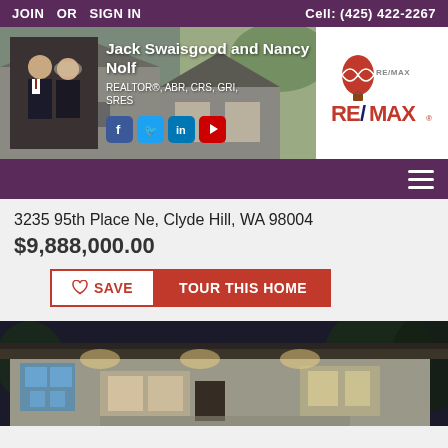JOIN OR SIGN IN | Cell: (425) 422-2267
[Figure (photo): Agent banner with photo of Jack Swaisgood and Nancy Nolf, house background, RE/MAX logo]
Jack Swaisgood and Nancy Nolf
REALTOR®, ABR, CRS, GRI, SRES
[Figure (logo): RE/MAX logo with hot air balloon]
3235 95th Place Ne, Clyde Hill, WA 98004
$9,888,000.00
[Figure (photo): Exterior photo of a modern single-story home at dusk with lights on, large windows and flat roof]